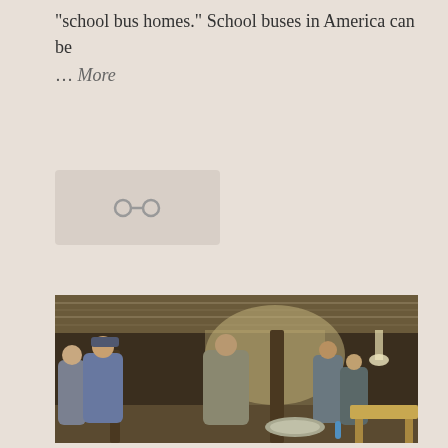"school bus homes." School buses in America can be
… More
[Figure (illustration): Share/link icon — two overlapping circles with a connector, representing a share or link button, on a light beige/tan rounded rectangle background]
[Figure (photo): A group of people standing inside a large barn or workshop structure with wooden posts and a corrugated metal roof. Several individuals in hoodies and jackets stand facing the interior. Some work at a wooden bench on the right side. Various construction materials and a roll of material are visible on the floor.]